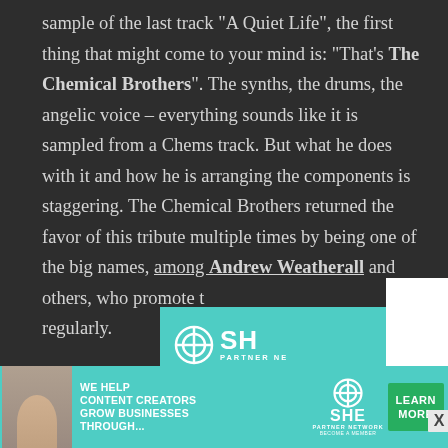sample of the last track "A Quiet Life", the first thing that might come to your mind is: "That's The Chemical Brothers". The synths, the drums, the angelic voice – everything sounds like it is sampled from a Chems track. But what he does with it and how he is arranging the components is staggering. The Chemical Brothers returned the favor of this tribute multiple times by being one of the big names, among Andrew Weatherall and others, who promote t… regularly.
[Figure (screenshot): SHE Partner Network advertisement overlay with teal background, featuring the SHE logo, a photo of a woman with glasses, and a bottom banner ad reading 'We Help Content Creators Grow Businesses Through...' with a Learn More button.]